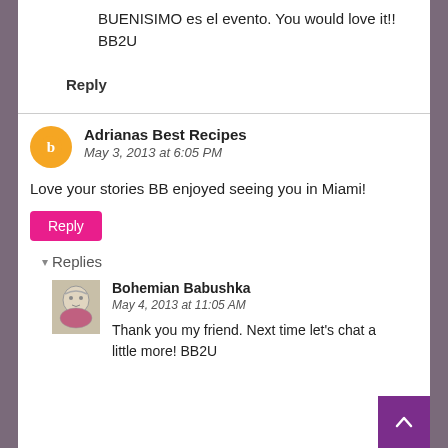BUENISIMO es el evento. You would love it!! BB2U
Reply
Adrianas Best Recipes
May 3, 2013 at 6:05 PM
Love your stories BB enjoyed seeing you in Miami!
Reply
Replies
Bohemian Babushka
May 4, 2013 at 11:05 AM
Thank you my friend. Next time let's chat a little more! BB2U